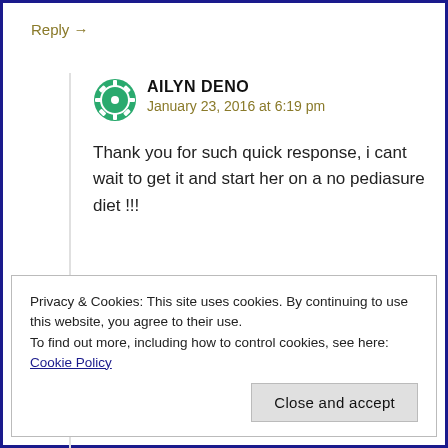Reply →
AILYN DENO
January 23, 2016 at 6:19 pm
Thank you for such quick response, i cant wait to get it and start her on a no pediasure diet !!!
Privacy & Cookies: This site uses cookies. By continuing to use this website, you agree to their use.
To find out more, including how to control cookies, see here: Cookie Policy
Close and accept